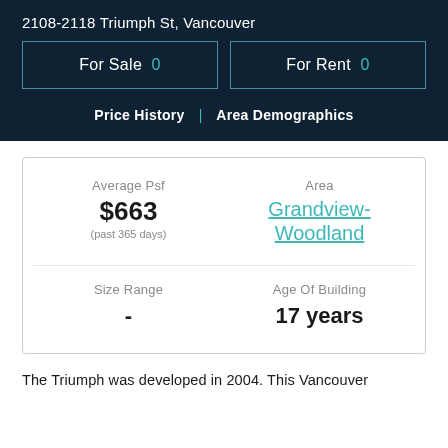2108-2118 Triumph St, Vancouver
For Sale  0
For Rent  0
Price History  |  Area Demographics
| Average Psf | Area |
| --- | --- |
| $663
(past 365 days) | Grandview-Woodland |
| Size Range | Age Of Building |
| --- | --- |
| - | 17 years |
The Triumph was developed in 2004. This Vancouver